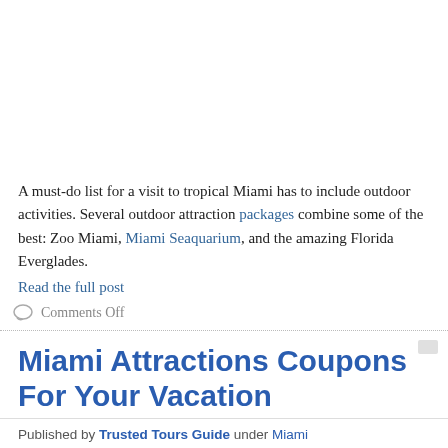A must-do list for a visit to tropical Miami has to include outdoor activities. Several outdoor attraction packages combine some of the best: Zoo Miami, Miami Seaquarium, and the amazing Florida Everglades.
Read the full post
Comments Off
Miami Attractions Coupons For Your Vacation
Published by Trusted Tours Guide under Miami